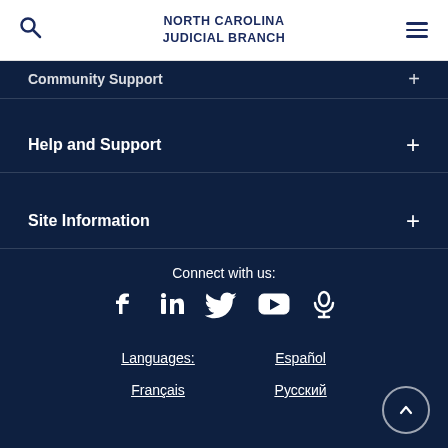NORTH CAROLINA JUDICIAL BRANCH
Community Support +
Help and Support +
Site Information +
Connect with us:
[Figure (infographic): Social media icons: Facebook, LinkedIn, Twitter, YouTube, Podcast/Microphone]
Languages: Español Français Русский